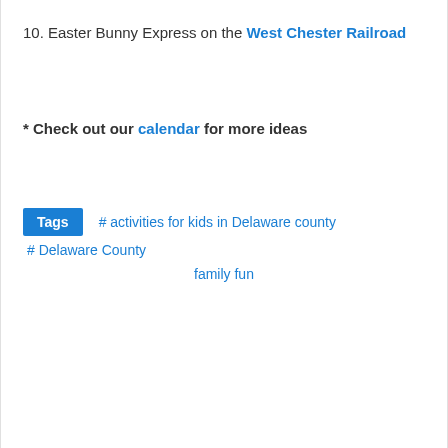10. Easter Bunny Express on the West Chester Railroad
* Check out our calendar for more ideas
Tags  # activities for kids in Delaware county  # Delaware County  family fun